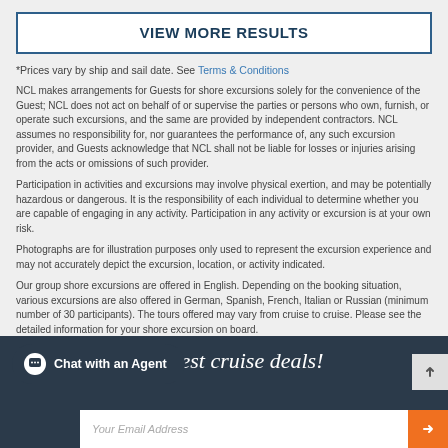VIEW MORE RESULTS
*Prices vary by ship and sail date. See Terms & Conditions
NCL makes arrangements for Guests for shore excursions solely for the convenience of the Guest; NCL does not act on behalf of or supervise the parties or persons who own, furnish, or operate such excursions, and the same are provided by independent contractors. NCL assumes no responsibility for, nor guarantees the performance of, any such excursion provider, and Guests acknowledge that NCL shall not be liable for losses or injuries arising from the acts or omissions of such provider.
Participation in activities and excursions may involve physical exertion, and may be potentially hazardous or dangerous. It is the responsibility of each individual to determine whether you are capable of engaging in any activity. Participation in any activity or excursion is at your own risk.
Photographs are for illustration purposes only used to represent the excursion experience and may not accurately depict the excursion, location, or activity indicated.
Our group shore excursions are offered in English. Depending on the booking situation, various excursions are also offered in German, Spanish, French, Italian or Russian (minimum number of 30 participants). The tours offered may vary from cruise to cruise. Please see the detailed information for your shore excursion on board.
he hottest cruise deals!
Chat with an Agent